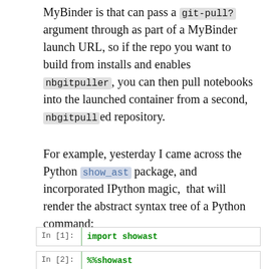MyBinder is that can pass a git-pull? argument through as part of a MyBinder launch URL, so if the repo you want to build from installs and enables nbgitpuller, you can then pull notebooks into the launched container from a second, nbgitpulled repository.
For example, yesterday I came across the Python show_ast package, and incorporated IPython magic, that will render the abstract syntax tree of a Python command:
[Figure (screenshot): Jupyter notebook cells: In [1]: import showast (green bold), In [2]: %%showast / print... (partially visible)]